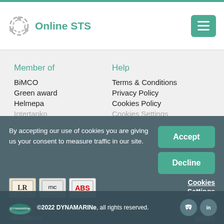Online STS
Member of
BiMCO
Green award
Helmepa
Intertanko
Help
Terms & Conditions
Privacy Policy
Cookies Policy
Cookies Settings
By accepting our use of cookies you are giving us your consent to measure traffic in our site.
Click on "Cookies Settings" for further information.
Cookies Settings
Cookies policy
©2022 DYNAMARINe, all rights reserved.